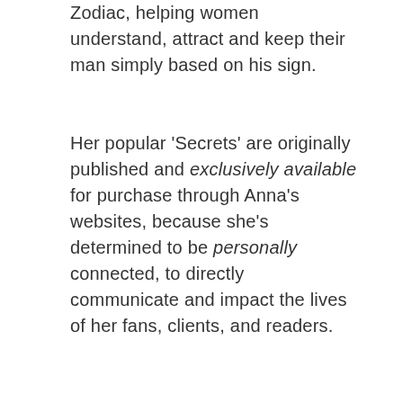Zodiac, helping women understand, attract and keep their man simply based on his sign.
Her popular 'Secrets' are originally published and exclusively available for purchase through Anna's websites, because she's determined to be personally connected, to directly communicate and impact the lives of her fans, clients, and readers.